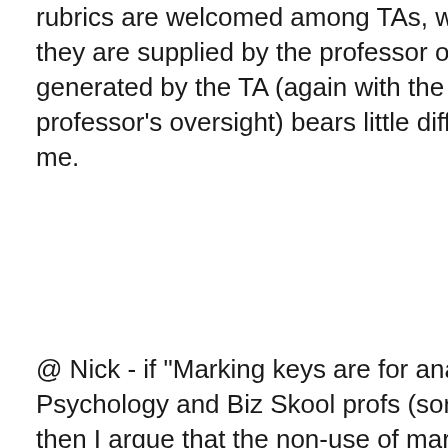rubrics are welcomed among TAs, whether they are supplied by the professor or generated by the TA (again with the professor's oversight) bears little difference to me.
@ Nick - if "Marking keys are for anal-retentive Psychology and Biz Skool profs (sorry Mike)", then I argue that the non-use of marking keys are for the drunkards and laggards within academia; those who mark assignments, papers, and projects with little attention to detail, but instead whimsically grade each submission as independent of one another.